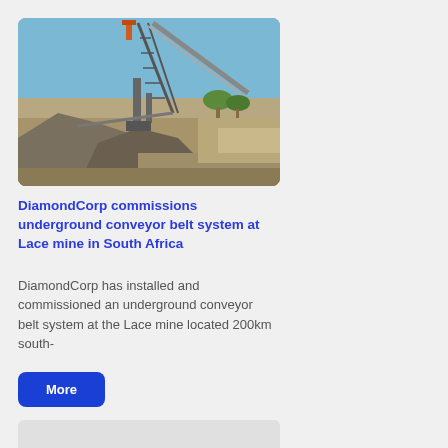[Figure (photo): Industrial conveyor belt system at a mine site, with a large inclined conveyor structure, piles of crushed rock/ore, and a blue sky in the background.]
DiamondCorp commissions underground conveyor belt system at Lace mine in South Africa
DiamondCorp has installed and commissioned an underground conveyor belt system at the Lace mine located 200km south-
More